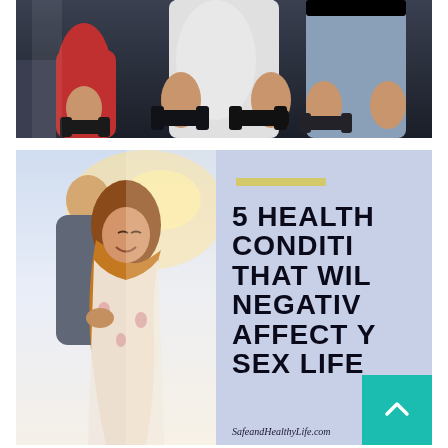[Figure (photo): Two people at a gym holding dumbbells during a workout, torsos visible, one in white shirt and one in grey leggings]
[Figure (infographic): Composite image: left half shows a couple embracing outdoors in sunlight, right half is a light blue/lavender panel with bold black text reading '5 HEALTH CONDITIONS THAT WILL NEGATIVELY AFFECT YOUR SEX LIFE' with a yellow decorative bar at top. A teal button with an up-arrow chevron is in the bottom-right corner. Website URL 'SafeandHealthyLife.com' at the bottom.]